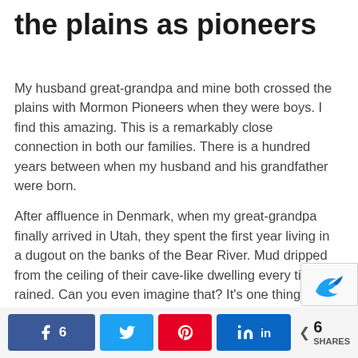the plains as pioneers
My husband great-grandpa and mine both crossed the plains with Mormon Pioneers when they were boys. I find this amazing. This is a remarkably close connection in both our families. There is a hundred years between when my husband and his grandfather were born.
After affluence in Denmark, when my great-grandpa finally arrived in Utah, they spent the first year living in a dugout on the banks of the Bear River. Mud dripped from the ceiling of their cave-like dwelling every time it rained. Can you even imagine that? It's one thing to go camping and to deal with some rain, but an entire Utah winter in a mud cave? I have been told that when my great-grandpa's mother arrived in the Salt Lake Valley, she wept. Not so much for joy and relief, but at the
Share buttons: Facebook 6, Twitter, Pinterest, LinkedIn | 6 SHARES